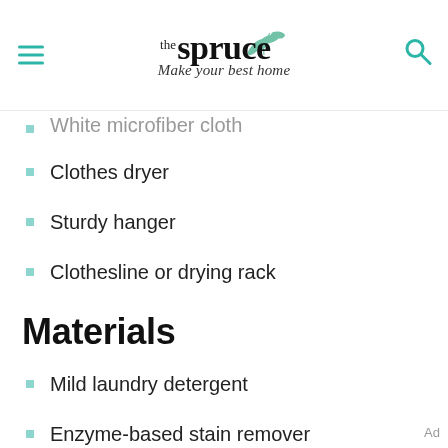the spruce — Make your best home
White microfiber cloth (partial/cropped)
Clothes dryer
Sturdy hanger
Clothesline or drying rack
Materials
Mild laundry detergent
Enzyme-based stain remover
Durable water repellent product
Dishwashing liquid
Instructions
Ad